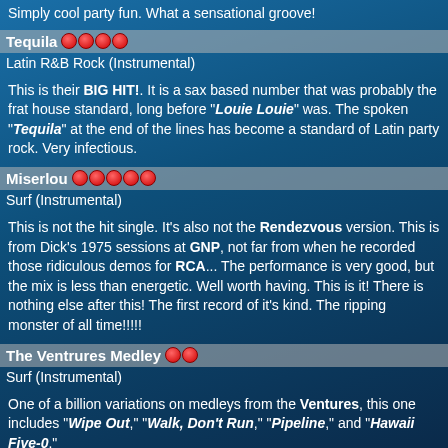Simply cool party fun. What a sensational groove!
Tequila ●●●●
Latin R&B Rock (Instrumental)
This is their BIG HIT!. It is a sax based number that was probably the frat house standard, long before "Louie Louie" was. The spoken "Tequila" at the end of the lines has become a standard of Latin party rock. Very infectious.
Miserlou ●●●●●
Surf (Instrumental)
This is not the hit single. It's also not the Rendezvous version. This is from Dick's 1975 sessions at GNP, not far from when he recorded those ridiculous demos for RCA... The performance is very good, but the mix is less than energetic. Well worth having. This is it! There is nothing else after this! The first record of it's kind. The ripping monster of all time!!!!!
The Ventrures Medley ●●
Surf (Instrumental)
One of a billion variations on medleys from the Ventures, this one includes "Wipe Out," "Walk, Don't Run," "Pipeline," and "Hawaii Five-0".